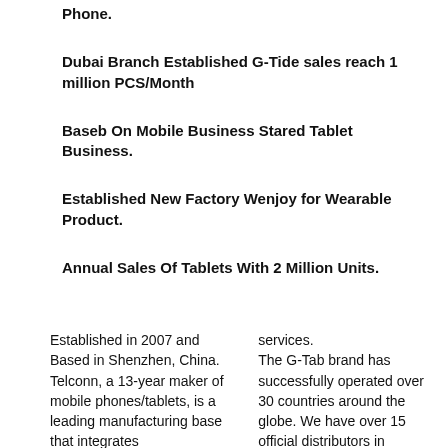Phone.
Dubai Branch Established G-Tide sales reach 1 million PCS/Month
Baseb On Mobile Business Stared Tablet Business.
Established New Factory Wenjoy for Wearable Product.
Annual Sales Of Tablets With 2 Million Units.
Established in 2007 and Based in Shenzhen, China. Telconn, a 13-year maker of mobile phones/tablets, is a leading manufacturing base that integrates
services. The G-Tab brand has successfully operated over 30 countries around the globe. We have over 15 official distributors in